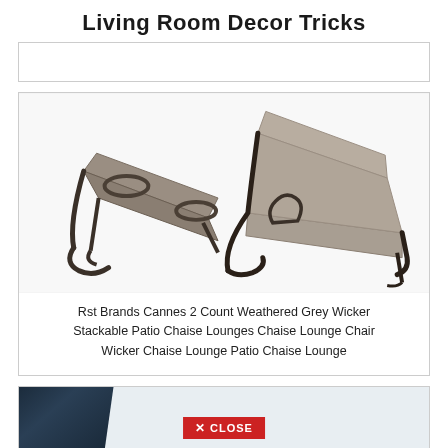Living Room Decor Tricks
[Figure (other): Partial view of a content box with truncated text]
[Figure (photo): Rst Brands Cannes 2 Count Weathered Grey Wicker Stackable Patio Chaise Lounges - two grey wicker chaise lounge chairs on white background]
Rst Brands Cannes 2 Count Weathered Grey Wicker Stackable Patio Chaise Lounges Chaise Lounge Chair Wicker Chaise Lounge Patio Chaise Lounge
[Figure (photo): Bottom partial product card showing navy/dark blue furniture piece with a red CLOSE button overlay]